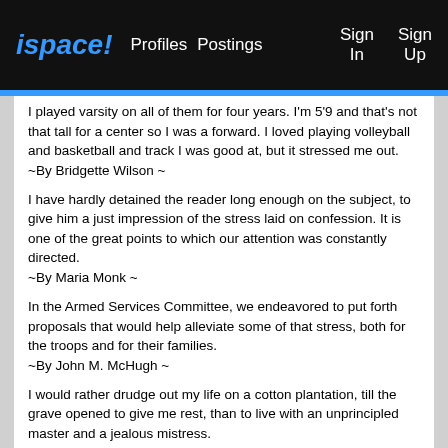ispace! Profiles Postings Sign In Sign Up
I played varsity on all of them for four years. I'm 5'9 and that's not that tall for a center so I was a forward. I loved playing volleyball and basketball and track I was good at, but it stressed me out.
~By Bridgette Wilson ~
I have hardly detained the reader long enough on the subject, to give him a just impression of the stress laid on confession. It is one of the great points to which our attention was constantly directed.
~By Maria Monk ~
In the Armed Services Committee, we endeavored to put forth proposals that would help alleviate some of that stress, both for the troops and for their families.
~By John M. McHugh ~
I would rather drudge out my life on a cotton plantation, till the grave opened to give me rest, than to live with an unprincipled master and a jealous mistress.
~By Harriet Ann Jacobs ~